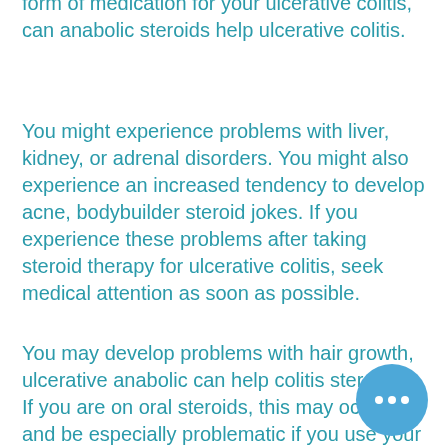form of medication for your ulcerative colitis, can anabolic steroids help ulcerative colitis.
You might experience problems with liver, kidney, or adrenal disorders. You might also experience an increased tendency to develop acne, bodybuilder steroid jokes. If you experience these problems after taking steroid therapy for ulcerative colitis, seek medical attention as soon as possible.
You may develop problems with hair growth, ulcerative anabolic can help colitis steroids0. If you are on oral steroids, this may occur and be especially problematic if you use your hair as a barrier against bacteria such as S. aureus.
Many of the local pharmacies in Thaila... anabolic steroids OTC without a prescriptionin bottles labeled as "butvric